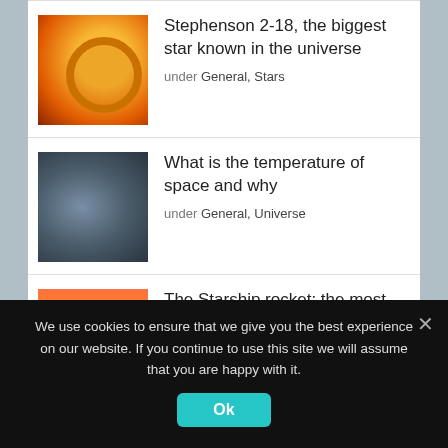Stephenson 2-18, the biggest star known in the universe
under General, Stars
What is the temperature of space and why
under General, Universe
The Starship rocket: the most powerful rocket ever built
under General, Rockets
The difference between meteoroid, meteor and meteorite
under The Earth, Universe
We use cookies to ensure that we give you the best experience on our website. If you continue to use this site we will assume that you are happy with it.